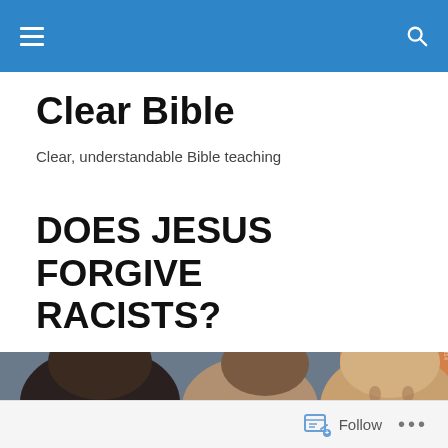Clear Bible navigation bar
Clear Bible
Clear, understandable Bible teaching
DOES JESUS FORGIVE RACISTS?
[Figure (photo): Close-up photograph of three people, two women and an elderly man on the right, with an orange background element visible.]
Follow ...